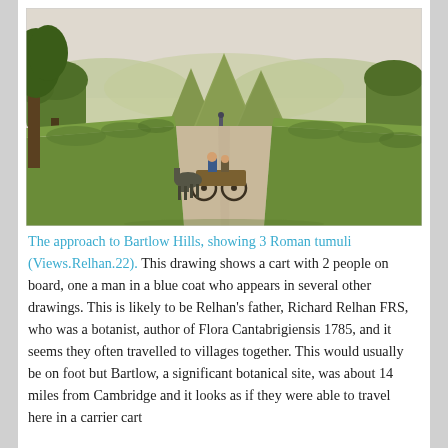[Figure (illustration): Watercolour drawing showing the approach to Bartlow Hills with three conical Roman tumuli (grass-covered mounds) in the background, trees on either side of a long straight road receding into the distance, and a horse-drawn cart with two people in the foreground on the road.]
The approach to Bartlow Hills, showing 3 Roman tumuli (Views.Relhan.22). This drawing shows a cart with 2 people on board, one a man in a blue coat who appears in several other drawings. This is likely to be Relhan's father, Richard Relhan FRS, who was a botanist, author of Flora Cantabrigiensis 1785, and it seems they often travelled to villages together. This would usually be on foot but Bartlow, a significant botanical site, was about 14 miles from Cambridge and it looks as if they were able to travel here in a carrier cart